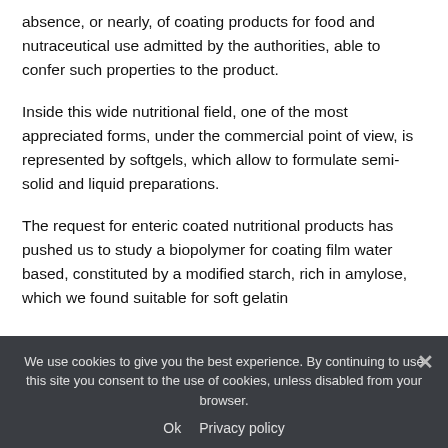absence, or nearly, of coating products for food and nutraceutical use admitted by the authorities, able to confer such properties to the product.
Inside this wide nutritional field, one of the most appreciated forms, under the commercial point of view, is represented by softgels, which allow to formulate semi-solid and liquid preparations.
The request for enteric coated nutritional products has pushed us to study a biopolymer for coating film water based, constituted by a modified starch, rich in amylose, which we found suitable for soft gelatin
We use cookies to give you the best experience. By continuing to use this site you consent to the use of cookies, unless disabled from your browser.
Ok   Privacy policy